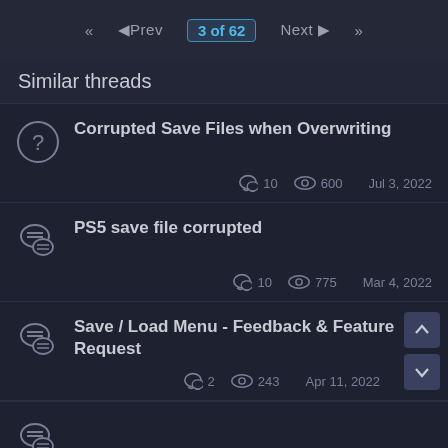«  ◄Prev  3 of 62  Next ►  »
Similar threads
Corrupted Save Files when Overwriting — 10 comments, 600 views, Jul 3, 2022
PS5 save file corrupted — 10 comments, 775 views, Mar 4, 2022
Save / Load Menu - Feedback & Feature Request — 2 comments, 243 views, Apr 11, 2022